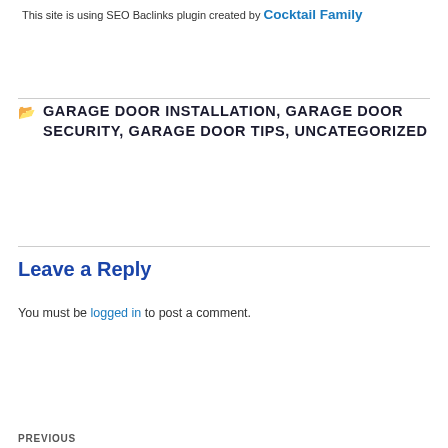This site is using SEO Baclinks plugin created by Cocktail Family
GARAGE DOOR INSTALLATION, GARAGE DOOR SECURITY, GARAGE DOOR TIPS, UNCATEGORIZED
Leave a Reply
You must be logged in to post a comment.
PREVIOUS